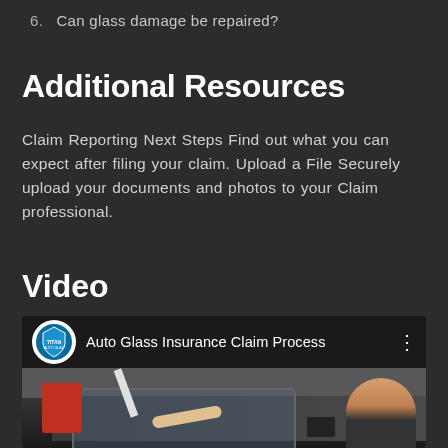6. Can glass damage be repaired?
Additional Resources
Claim Reporting Next Steps Find out what you can expect after filing your claim. Upload a File Securely upload your documents and photos to your Claim professional.
Video
[Figure (screenshot): YouTube video player showing 'Auto Glass Insurance Claim Process' by Titan Auto Glass, with a thumbnail of a person working on a car windshield in a garage.]